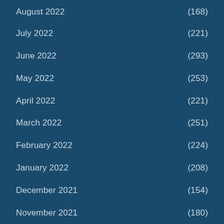August 2022 (168)
July 2022 (221)
June 2022 (293)
May 2022 (253)
April 2022 (221)
March 2022 (251)
February 2022 (224)
January 2022 (208)
December 2021 (154)
November 2021 (180)